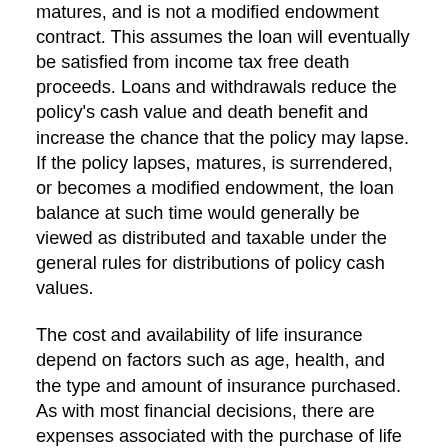matures, and is not a modified endowment contract. This assumes the loan will eventually be satisfied from income tax free death proceeds. Loans and withdrawals reduce the policy's cash value and death benefit and increase the chance that the policy may lapse. If the policy lapses, matures, is surrendered, or becomes a modified endowment, the loan balance at such time would generally be viewed as distributed and taxable under the general rules for distributions of policy cash values.
The cost and availability of life insurance depend on factors such as age, health, and the type and amount of insurance purchased. As with most financial decisions, there are expenses associated with the purchase of life insurance. Policies commonly have mortality and expense charges. In addition, if a policy is surrendered prematurely, there may be surrender charges and income tax implications.
For investors who want the flexibility to change their premiums or death benefits, a universal life insurance